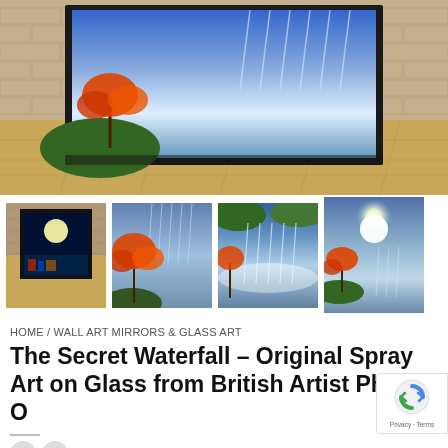[Figure (photo): Main large image showing a framed painting of a waterfall scene with an orange-leaved tree displayed in a room with brick wall and wooden floor]
[Figure (photo): Four thumbnail images of the same artwork: (1) dark room with framed painting and moon, (2) orange tree with blue waterfall, (3) waterfall scene close-up, (4) bright sun with waterfall and tree]
HOME / WALL ART MIRRORS & GLASS ART
The Secret Waterfall – Original Spray Art on Glass from British Artist Phillip O…